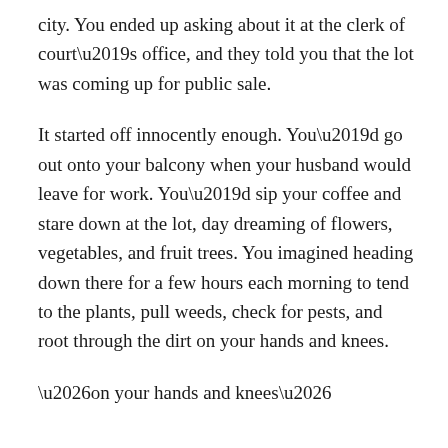city. You ended up asking about it at the clerk of court's office, and they told you that the lot was coming up for public sale.
It started off innocently enough. You'd go out onto your balcony when your husband would leave for work. You'd sip your coffee and stare down at the lot, day dreaming of flowers, vegetables, and fruit trees. You imagined heading down there for a few hours each morning to tend to the plants, pull weeds, check for pests, and root through the dirt on your hands and knees.
…on your hands and knees…